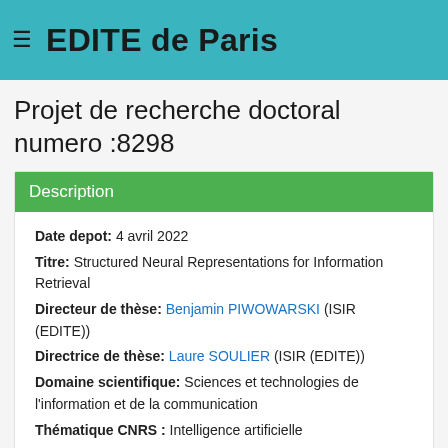≡ EDITE de Paris
Projet de recherche doctoral numero :8298
Description
Date depot: 4 avril 2022
Titre: Structured Neural Representations for Information Retrieval
Directeur de thèse: Benjamin PIWOWARSKI (ISIR (EDITE))
Directrice de thèse: Laure SOULIER (ISIR (EDITE))
Domaine scientifique: Sciences et technologies de l'information et de la communication
Thématique CNRS : Intelligence artificielle